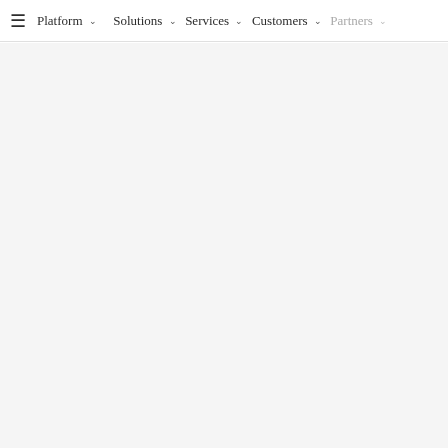☰  Platform ∨  Solutions ∨  Services ∨  Customers ∨  Partners ∨